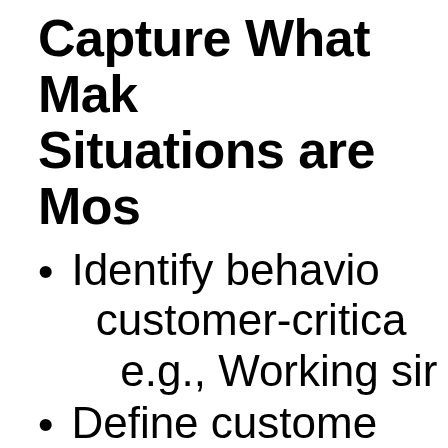Capture What Makes Situations are Most
Identify behaviors that are customer-critical, e.g., Working sim
Define customer e.g., Mary has 4 insurance cover
Understand cu...